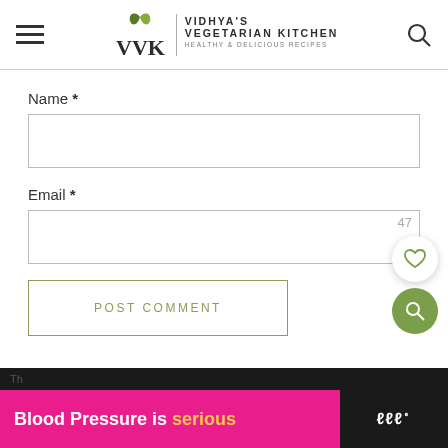[Figure (logo): Vidhya's Vegetarian Kitchen logo with VVK monogram and leaf design, plus hamburger menu and search icon]
Name *
Email *
POST COMMENT
47
[Figure (illustration): Heart/favorite icon button (white circle with heart outline) and green circular search button]
Blood Pressure is serious
[Figure (logo): Meredith logo (www) in right dark section of ad banner]